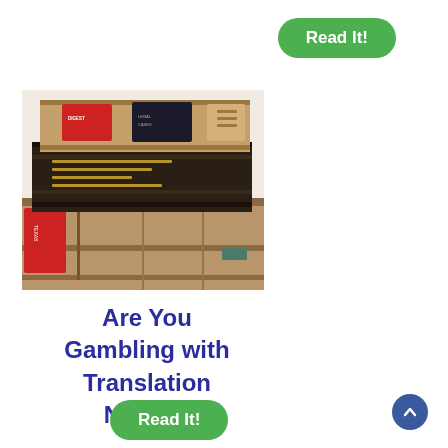[Figure (other): Green rounded button labeled 'Read It!' positioned top right]
[Figure (photo): Stack of old worn leather-bound law books photographed from above showing their spines]
Are You Gambling with Translation Needs?
[Figure (other): Green rounded button labeled 'Read It!' positioned bottom left]
[Figure (other): Blue circular scroll-to-top arrow button at bottom right]